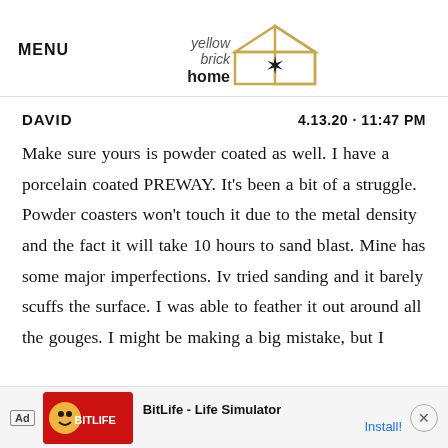MENU | yellow brick home [logo]
DAVID    4.13.20 · 11:47 PM
Make sure yours is powder coated as well. I have a porcelain coated PREWAY. It's been a bit of a struggle. Powder coasters won't touch it due to the metal density and the fact it will take 10 hours to sand blast. Mine has some major imperfections. Iv tried sanding and it barely scuffs the surface. I was able to feather it out around all the gouges. I might be making a big mistake, but I
[Figure (infographic): Advertisement banner for BitLife - Life Simulator app with red background, character graphic, and Install! button]